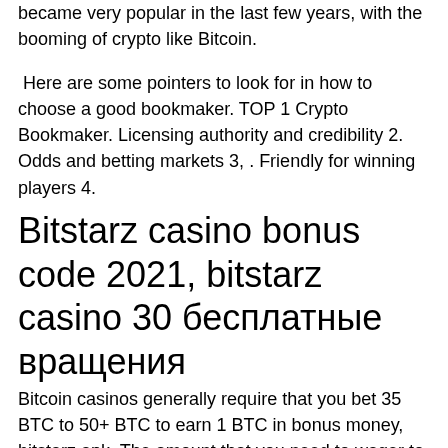became very popular in the last few years, with the booming of crypto like Bitcoin.
Here are some pointers to look for in how to choose a good bookmaker. TOP 1 Crypto Bookmaker. Licensing authority and credibility 2. Odds and betting markets 3, . Friendly for winning players 4.
Bitstarz casino bonus code 2021, bitstarz casino 30 бесплатные вращения
Bitcoin casinos generally require that you bet 35 BTC to 50+ BTC to earn 1 BTC in bonus money, bitstarz apk. The amount that you need to wager to earn your bonus is cumulative, so you need to bet more total Bitcoin to earn the entire bonus amount. Example bonus wagering requirements. To